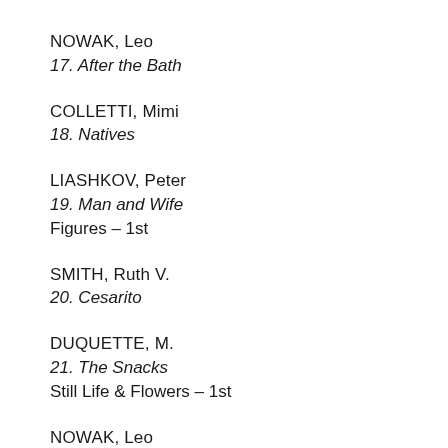NOWAK, Leo
17. After the Bath
COLLETTI, Mimi
18. Natives
LIASHKOV, Peter
19. Man and Wife
Figures – 1st
SMITH, Ruth V.
20. Cesarito
DUQUETTE, M.
21. The Snacks
Still Life & Flowers – 1st
NOWAK, Leo